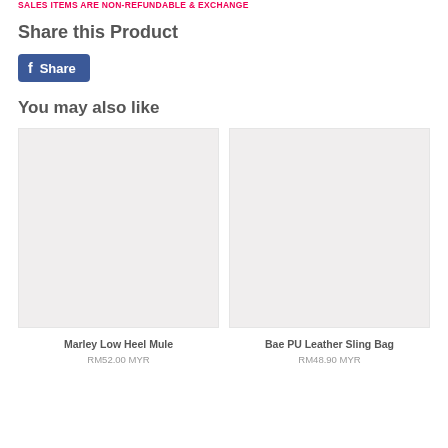SALES ITEMS ARE NON-REFUNDABLE & EXCHANGE
Share this Product
[Figure (other): Facebook Share button with blue background, white Facebook icon and 'Share' text]
You may also like
[Figure (other): Product image placeholder for Marley Low Heel Mule, light grey background]
Marley Low Heel Mule
RM52.00 MYR
[Figure (other): Product image placeholder for Bae PU Leather Sling Bag, light grey background]
Bae PU Leather Sling Bag
RM48.90 MYR